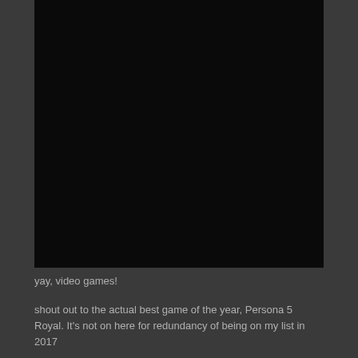[Figure (photo): Large dark/black rectangular image area, appears to be a screenshot or image related to video games]
yay, video games!
shout out to the actual best game of the year, Persona 5 Royal. It's not on here for redundancy of being on my list in 2017